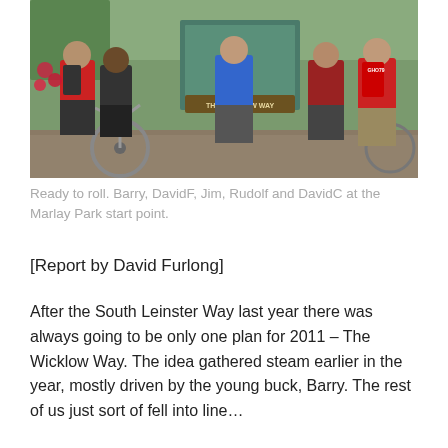[Figure (photo): Group photo of five cyclists/hikers (Barry, DavidF, Jim, Rudolf and DavidC) standing at The Wicklow Way sign at Marlay Park start point. People are wearing outdoor gear and backpacks; a mountain bike is visible in the foreground.]
Ready to roll. Barry, DavidF, Jim, Rudolf and DavidC at the Marlay Park start point.
[Report by David Furlong]
After the South Leinster Way last year there was always going to be only one plan for 2011 – The Wicklow Way. The idea gathered steam earlier in the year, mostly driven by the young buck, Barry. The rest of us just sort of fell into line…